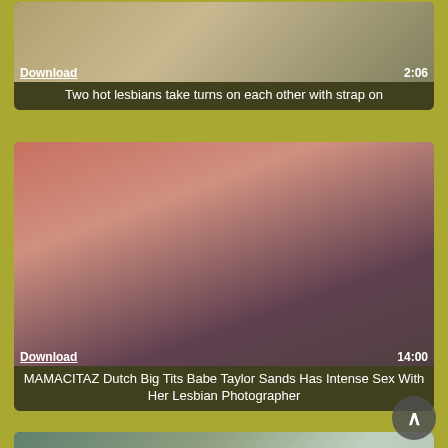[Figure (screenshot): Video thumbnail for 'Two hot lesbians take turns on each other with strap on', duration 2:06, with Download link overlay]
Two hot lesbians take turns on each other with strap on
[Figure (screenshot): Video thumbnail for 'MAMACITAZ Dutch Big Tits Babe Taylor Sands Has Intense Sex With Her Lesbian Photographer', duration 14:00, with Download link overlay]
MAMACITAZ Dutch Big Tits Babe Taylor Sands Has Intense Sex With Her Lesbian Photographer
[Figure (screenshot): Partial video thumbnail showing two women in a classroom setting]